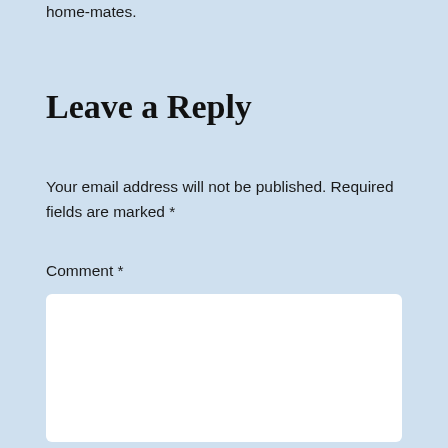home-mates.
Leave a Reply
Your email address will not be published. Required fields are marked *
Comment *
[Figure (other): Comment text input box (white rounded rectangle)]